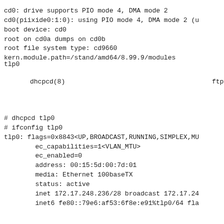cd0: drive supports PIO mode 4, DMA mode 2
cd0(piixide0:1:0): using PIO mode 4, DMA mode 2 (u
boot device: cd0
root on cd0a dumps on cd0b
root file system type: cd9660
kern.module.path=/stand/amd64/8.99.9/modules
tlp0[Japanese characters]
[Japanese characters]dhcpcd(8)[Japanese characters] [Japanese characters]ftp[Japanese characters] [Japanese characters]
# dhcpcd tlp0
# ifconfig tlp0
tlp0: flags=0x8843<UP,BROADCAST,RUNNING,SIMPLEX,MU
        ec_capabilities=1<VLAN_MTU>
        ec_enabled=0
        address: 00:15:5d:00:7d:01
        media: Ethernet 100baseTX
        status: active
        inet 172.17.248.236/28 broadcast 172.17.24
        inet6 fe80::79e6:af53:6f8e:e91%tlp0/64 fla
[Japanese characters]